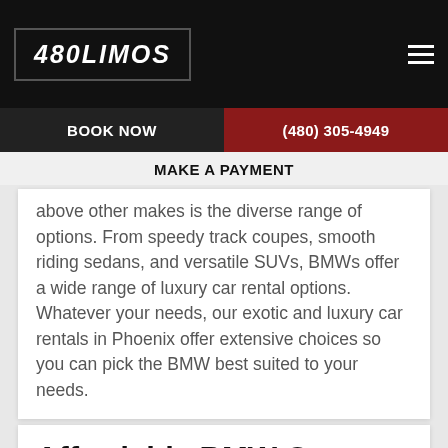480LIMOS
BOOK NOW | (480) 305-4949
MAKE A PAYMENT
above other makes is the diverse range of options. From speedy track coupes, smooth riding sedans, and versatile SUVs, BMWs offer a wide range of luxury car rental options. Whatever your needs, our exotic and luxury car rentals in Phoenix offer extensive choices so you can pick the BMW best suited to your needs.
Affordable BMW Car Rentals in Phoenix